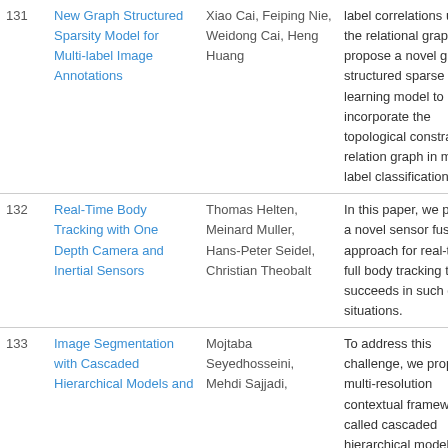| # | Title | Authors | Abstract |
| --- | --- | --- | --- |
| 131 | New Graph Structured Sparsity Model for Multi-label Image Annotations | Xiao Cai, Feiping Nie, Weidong Cai, Heng Huang | label correlations using the relational graph, and propose a novel graph structured sparse learning model to incorporate the topological constraints of relation graph in multi-label classifications. |
| 132 | Real-Time Body Tracking with One Depth Camera and Inertial Sensors | Thomas Helten, Meinard Muller, Hans-Peter Seidel, Christian Theobalt | In this paper, we present a novel sensor fusion approach for real-time full body tracking that succeeds in such difficult situations. |
| 133 | Image Segmentation with Cascaded Hierarchical Models and | Mojtaba Seyedhosseini, Mehdi Sajjadi, | To address this challenge, we propose a multi-resolution contextual framework, called cascaded hierarchical model (CHM), which learns |